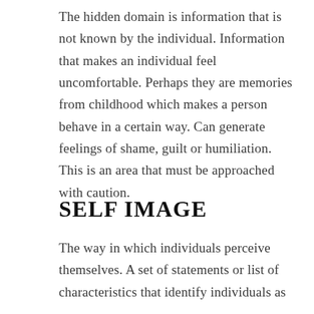The hidden domain is information that is not known by the individual. Information that makes an individual feel uncomfortable. Perhaps they are memories from childhood which makes a person behave in a certain way. Can generate feelings of shame, guilt or humiliation. This is an area that must be approached with caution.
SELF IMAGE
The way in which individuals perceive themselves. A set of statements or list of characteristics that identify individuals as